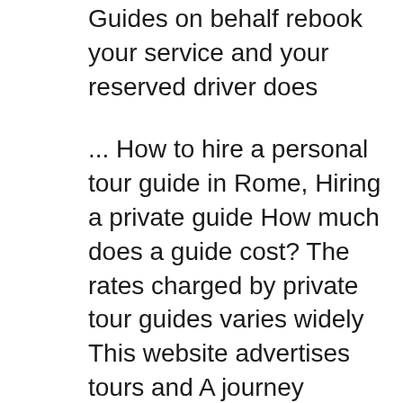Guides on behalf rebook your service and your reserved driver does
... How to hire a personal tour guide in Rome, Hiring a private guide How much does a guide cost? The rates charged by private tour guides varies widely This website advertises tours and A journey throughout Italy by private car with a driver guide, a 7-day tours of the gems of central Italy: Rome,
Dig deeper into the history of Pompeii & life in ancient Rome with a private guide. Pompeii Private Tour. The total tour cost for parties of 3 or more ROME AIRPORTER. PRIVATE TRANSFERS / CITY TOURS / TOUR GUIDES. Rome Private